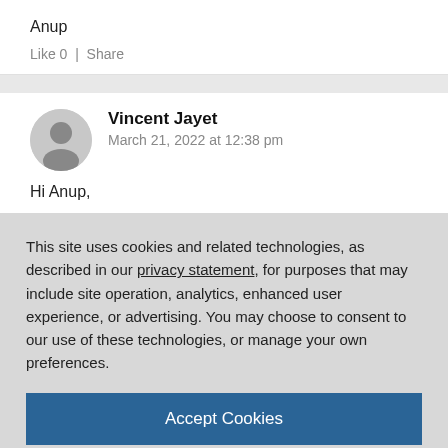Anup
Like 0  |  Share
Vincent Jayet
March 21, 2022 at 12:38 pm
Hi Anup,
This site uses cookies and related technologies, as described in our privacy statement, for purposes that may include site operation, analytics, enhanced user experience, or advertising. You may choose to consent to our use of these technologies, or manage your own preferences.
Accept Cookies
More Information
Privacy Policy | Powered by: TrustArc
but did you engage some code to reach your target ?